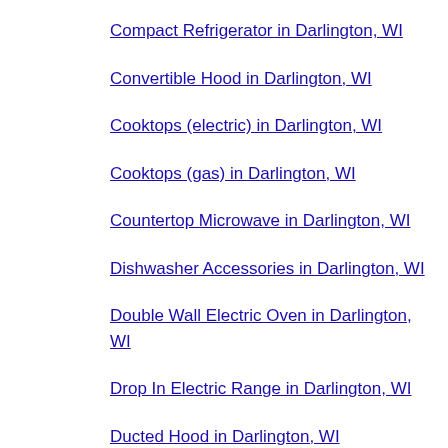Compact Refrigerator in Darlington, WI
Convertible Hood in Darlington, WI
Cooktops (electric) in Darlington, WI
Cooktops (gas) in Darlington, WI
Countertop Microwave in Darlington, WI
Dishwasher Accessories in Darlington, WI
Double Wall Electric Oven in Darlington, WI
Drop In Electric Range in Darlington, WI
Ducted Hood in Darlington, WI
Ductless Hood in Darlington, WI
Electric Oven and Microwave Combo in Darlington, WI
Electric Range Accessories in Darlington, WI
Electric Specialty Range in Darlington, WI